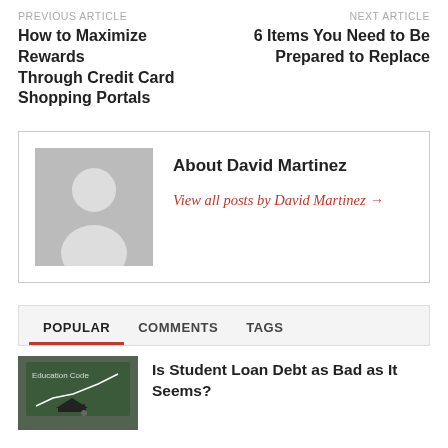PREVIOUS ARTICLE
How to Maximize Rewards Through Credit Card Shopping Portals
NEXT ARTICLE
6 Items You Need to Be Prepared to Replace
[Figure (illustration): Generic avatar silhouette on grey background]
About David Martinez
View all posts by David Martinez →
POPULAR   COMMENTS   TAGS
[Figure (photo): Education chalkboard with graduation cap and chart]
Is Student Loan Debt as Bad as It Seems?